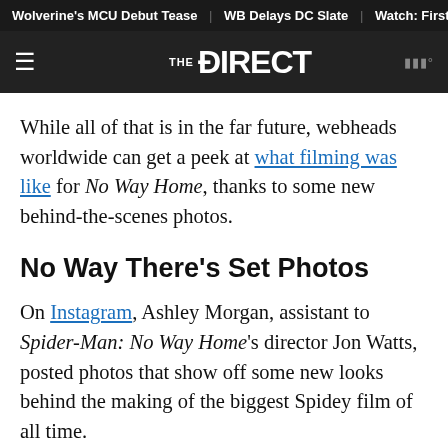Wolverine's MCU Debut Tease | WB Delays DC Slate | Watch: First
THE DIRECT
While all of that is in the far future, webheads worldwide can get a peek at what filming was like for No Way Home, thanks to some new behind-the-scenes photos.
No Way There's Set Photos
On Instagram, Ashley Morgan, assistant to Spider-Man: No Way Home's director Jon Watts, posted photos that show off some new looks behind the making of the biggest Spidey film of all time.